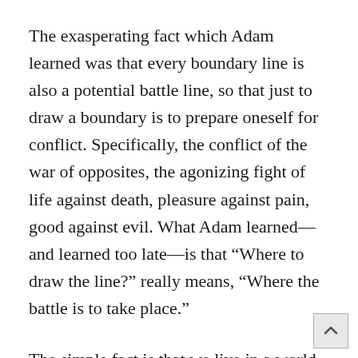The exasperating fact which Adam learned was that every boundary line is also a potential battle line, so that just to draw a boundary is to prepare oneself for conflict. Specifically, the conflict of the war of opposites, the agonizing fight of life against death, pleasure against pain, good against evil. What Adam learned—and learned too late—is that “Where to draw the line?” really means, “Where the battle is to take place.”
The simple fact is that we live in a world of conflict and opposites because we live in a world of boundaries. Since every boundary line is also a battle line, here is the human predicament: